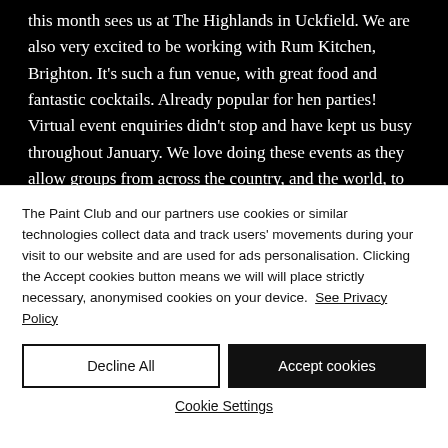this month sees us at The Highlands in Uckfield. We are also very excited to be working with Rum Kitchen, Brighton. It's such a fun venue, with great food and fantastic cocktails. Already popular for hen parties! Virtual event enquiries didn't stop and have kept us busy throughout January. We love doing these events as they allow groups from across the country, and the world, to
The Paint Club and our partners use cookies or similar technologies collect data and track users' movements during your visit to our website and are used for ads personalisation. Clicking the Accept cookies button means we will will place strictly necessary, anonymised cookies on your device. See Privacy Policy
Decline All
Accept cookies
Cookie Settings